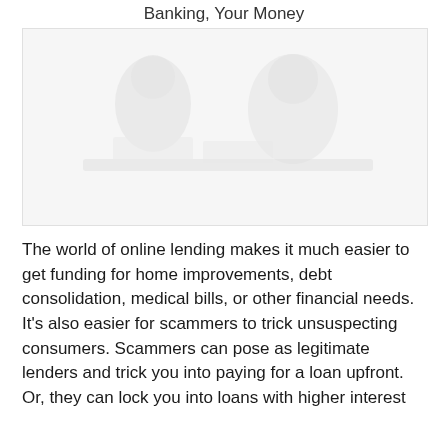Banking, Your Money
[Figure (photo): A faded/washed-out photo showing people, likely in a financial or consulting context, rendered in light grey tones]
The world of online lending makes it much easier to get funding for home improvements, debt consolidation, medical bills, or other financial needs. It's also easier for scammers to trick unsuspecting consumers. Scammers can pose as legitimate lenders and trick you into paying for a loan upfront. Or, they can lock you into loans with higher interest